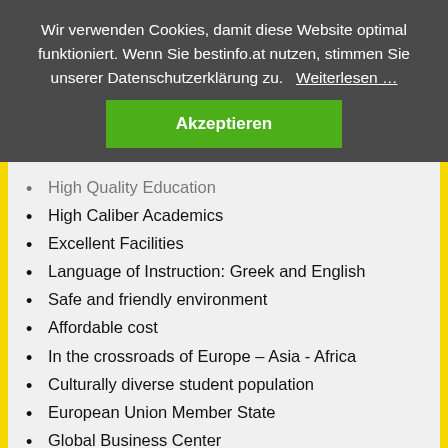Wir verwenden Cookies, damit diese Website optimal funktioniert. Wenn Sie bestinfo.at nutzen, stimmen Sie unserer Datenschutzerklärung zu. Weiterlesen …
Akzeptieren
High Quality Education
High Caliber Academics
Excellent Facilities
Language of Instruction: Greek and English
Safe and friendly environment
Affordable cost
In the crossroads of Europe – Asia - Africa
Culturally diverse student population
European Union Member State
Global Business Center
International Destination with more than 140,000 international people living Cyprus.
Pleasant Mediterranean Climate